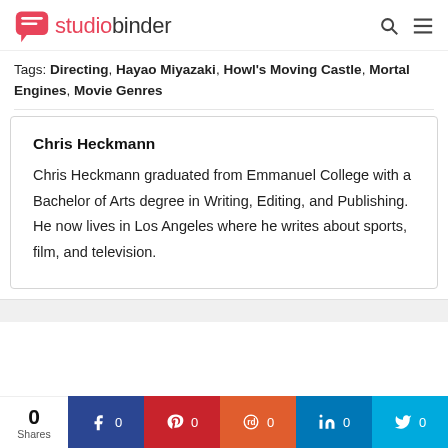studiobinder
Tags: Directing, Hayao Miyazaki, Howl's Moving Castle, Mortal Engines, Movie Genres
Chris Heckmann
Chris Heckmann graduated from Emmanuel College with a Bachelor of Arts degree in Writing, Editing, and Publishing. He now lives in Los Angeles where he writes about sports, film, and television.
0 Shares  f 0  p 0  reddit 0  in 0  twitter 0